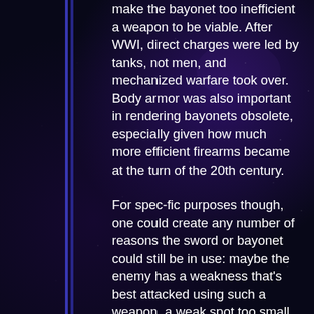make the bayonet too inefficient a weapon to be viable. After WWI, direct charges were led by tanks, not men, and mechanized warfare took over. Body armor was also important in rendering bayonets obsolete, especially given how much more efficient firearms became at the turn of the 20th century.
For spec-fic purposes though, one could create any number of reasons the sword or bayonet could still be in use: maybe the enemy has a weakness that's best attacked using such a weapon, a weak spot too small to be hit by a bullet from far away. Or in a sci-fi setting, maybe troops fight with blades